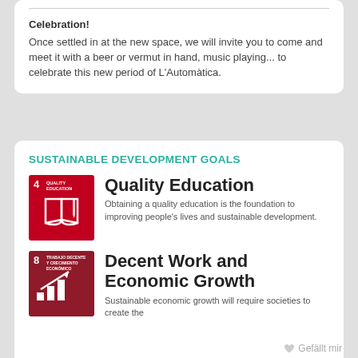Celebration!
Once settled in at the new space, we will invite you to come and meet it with a beer or vermut in hand, music playing... to celebrate this new period of L'Automàtica.
SUSTAINABLE DEVELOPMENT GOALS
[Figure (illustration): SDG Goal 4 Quality Education icon - red square with book icon and number 4]
Quality Education
Obtaining a quality education is the foundation to improving people's lives and sustainable development.
[Figure (illustration): SDG Goal 8 Decent Work and Economic Growth icon - dark red square with bar chart/growth icon and number 8]
Decent Work and Economic Growth
Sustainable economic growth will require societies to create the
Gefällt mir